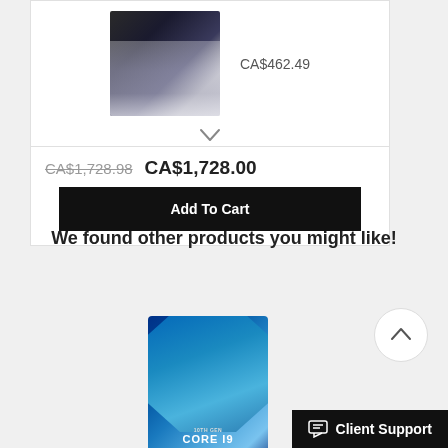[Figure (photo): Motherboard product image (partial view at top of card)]
CA$462.49
CA$1,728.98  CA$1,728.00
Add To Cart
We found other products you might like!
[Figure (photo): Intel 10th Gen Core i9 processor box product image]
Client Support